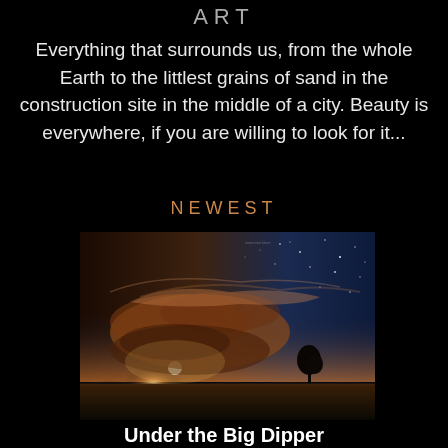ART
Everything that surrounds us, from the whole Earth to the littlest grains of sand in the construction site in the middle of a city. Beauty is everywhere, if you are willing to look for it...
NEWEST
[Figure (photo): Night sky photograph showing wispy clouds illuminated by moonlight with stars visible, flat prairie landscape with a lone tree silhouetted on the horizon]
Under the Big Dipper